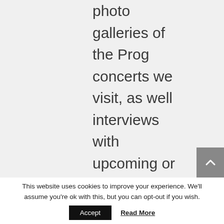photo galleries of the Prog concerts we visit, as well interviews with upcoming or established musicians or prog-related people.
This website uses cookies to improve your experience. We'll assume you're ok with this, but you can opt-out if you wish.
Accept
Read More